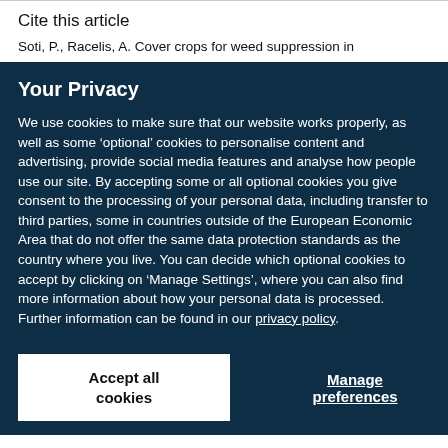Cite this article
Soti, P., Racelis, A. Cover crops for weed suppression in
Your Privacy
We use cookies to make sure that our website works properly, as well as some ‘optional’ cookies to personalise content and advertising, provide social media features and analyse how people use our site. By accepting some or all optional cookies you give consent to the processing of your personal data, including transfer to third parties, some in countries outside of the European Economic Area that do not offer the same data protection standards as the country where you live. You can decide which optional cookies to accept by clicking on ‘Manage Settings’, where you can also find more information about how your personal data is processed. Further information can be found in our privacy policy.
Accept all cookies
Manage preferences